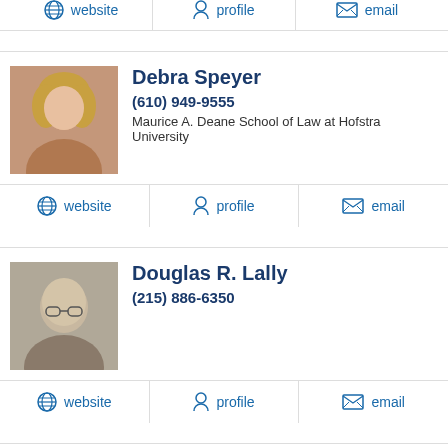[Figure (other): Action bar with website, profile, email links (top, partial from previous entry)]
[Figure (photo): Headshot photo of Debra Speyer]
Debra Speyer
(610) 949-9555
Maurice A. Deane School of Law at Hofstra University
[Figure (other): Action bar with website, profile, email links for Debra Speyer]
[Figure (photo): Headshot photo of Douglas R. Lally]
Douglas R. Lally
(215) 886-6350
[Figure (other): Action bar with website, profile, email links for Douglas R. Lally]
[Figure (photo): Headshot photo of Alexandre Neuerburg Turner]
Alexandre Neuerburg Turner